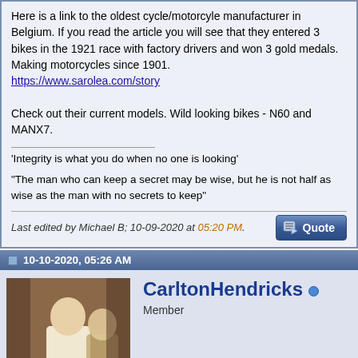Here is a link to the oldest cycle/motorcyle manufacturer in Belgium. If you read the article you will see that they entered 3 bikes in the 1921 race with factory drivers and won 3 gold medals. Making motorcycles since 1901. https://www.sarolea.com/story

Check out their current models. Wild looking bikes - N60 and MANX7.
'Integrity is what you do when no one is looking'

"The man who can keep a secret may be wise, but he is not half as wise as the man with no secrets to keep"
Last edited by Michael B; 10-09-2020 at 05:20 PM.
10-10-2020, 05:26 AM
[Figure (photo): Avatar image of CarltonHendricks showing a figurine or statue of a person in vintage attire]
CarltonHendricks
Member
Interesting little gadget
Thanks John...will do on those answers but not so